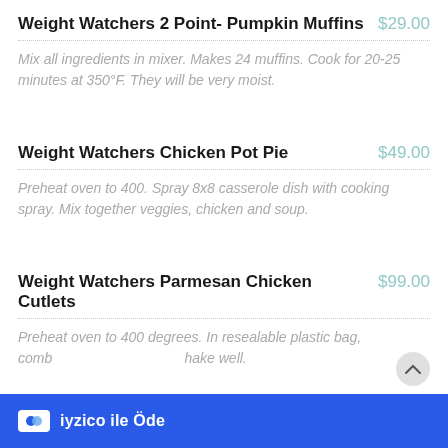Weight Watchers 2 Point- Pumpkin Muffins
$29.00
Mix all ingredients in mixer. Makes 24 muffins. Cook for 20-25 minutes at 350°F. They will be very moist.
Weight Watchers Chicken Pot Pie
$49.00
Preheat oven to 400. Spray 8x8 casserole dish with cooking spray. Mix together veggies, chicken and soup.
Weight Watchers Parmesan Chicken Cutlets
$99.00
Preheat oven to 400 degrees. In resealable plastic bag, comb... hake well.
iyzico ile Öde